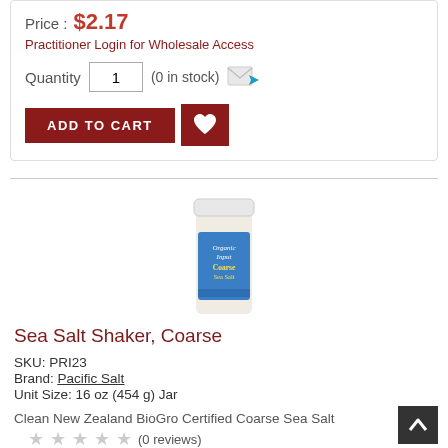Price : $2.17
Practitioner Login for Wholesale Access
Quantity   1   (0 in stock)
[Figure (other): Add to Cart button (dark red) and Wishlist heart button (dark red)]
[Figure (photo): Product photo: Organic Input Coarse Sea Salt shaker jar with blue label, white lid]
Sea Salt Shaker, Coarse
SKU: PRI23
Brand: Pacific Salt
Unit Size: 16 oz (454 g) Jar
Clean New Zealand BioGro Certified Coarse Sea Salt
(0 reviews)